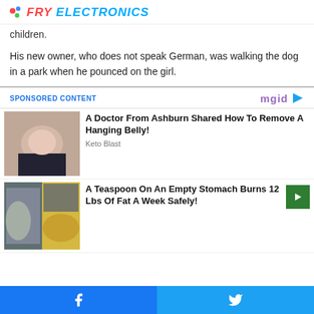FRY ELECTRONICS
children.
His new owner, who does not speak German, was walking the dog in a park when he pounced on the girl.
SPONSORED CONTENT
[Figure (photo): Advertisement image for belly fat removal article showing a person's midsection]
A Doctor From Ashburn Shared How To Remove A Hanging Belly!
Keto Blast
[Figure (photo): Advertisement image showing a fit woman and a pile of spice/powder]
A Teaspoon On An Empty Stomach Burns 12 Lbs Of Fat A Week Safely!
Facebook share | Twitter share